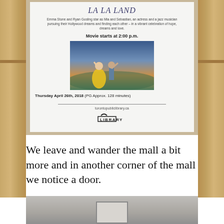[Figure (photo): Photo of a La La Land movie screening poster mounted on a wood-paneled wall at a Toronto Public Library location. The poster features the movie title in italic script, a description of the film, showing time of 2:00 p.m., a still of two dancers (Emma Stone and Ryan Gosling), date Thursday April 26th 2018, the torontopubliclibrary.ca URL, and the Toronto Public Library logo.]
We leave and wander the mall a bit more and in another corner of the mall we notice a door.
[Figure (photo): Bottom portion of a photo showing the top of a door in what appears to be a mall corridor, with grey walls visible.]